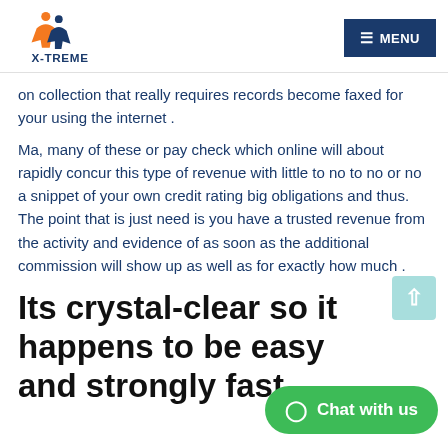X-TREME | MENU
on collection that really requires records become faxed for your using the internet .
Ma, many of these or pay check which online will about rapidly concur this type of revenue with little to no to no or no a snippet of your own credit rating big obligations and thus. The point that is just need is you have a trusted revenue from the activity and evidence of as soon as the additional commission will show up as well as for exactly how much .
Its crystal-clear so it happens to be easy and strongly fast .